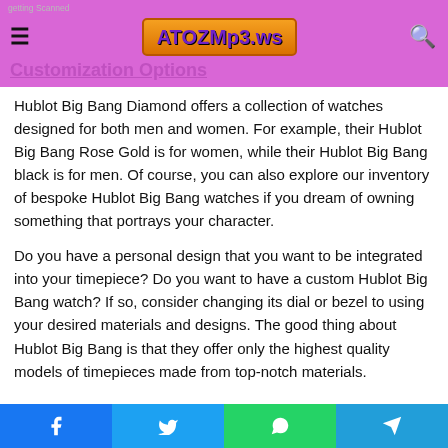getting Scanned
ATOZMP3.WS
Customization Options
Hublot Big Bang Diamond offers a collection of watches designed for both men and women. For example, their Hublot Big Bang Rose Gold is for women, while their Hublot Big Bang black is for men. Of course, you can also explore our inventory of bespoke Hublot Big Bang watches if you dream of owning something that portrays your character.
Do you have a personal design that you want to be integrated into your timepiece? Do you want to have a custom Hublot Big Bang watch? If so, consider changing its dial or bezel to using your desired materials and designs. The good thing about Hublot Big Bang is that they offer only the highest quality models of timepieces made from top-notch materials.
Facebook | Twitter | WhatsApp | Telegram